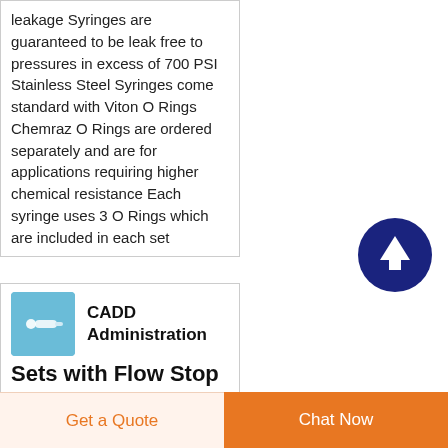leakage Syringes are guaranteed to be leak free to pressures in excess of 700 PSI Stainless Steel Syringes come standard with Viton O Rings Chemraz O Rings are ordered separately and are for applications requiring higher chemical resistance Each syringe uses 3 O Rings which are included in each set
[Figure (other): Dark blue circle button with upward arrow icon (scroll to top)]
[Figure (logo): CADD product icon - blue square image with syringe/pump illustration]
CADD Administration Sets with Flow Stop Free Flow
Get a Quote | Chat Now